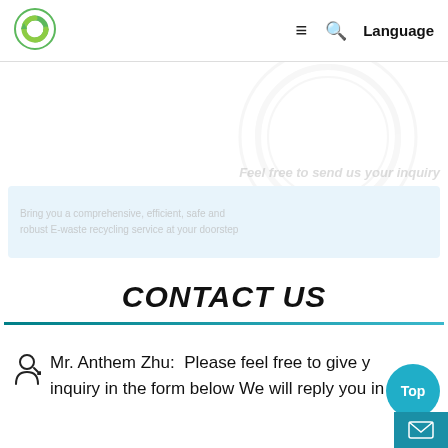[Figure (logo): Green circular logo with stylized R3 or recycling symbol]
≡  🔍  Language
[Figure (illustration): Faded background watermark circle and italic text, plus a light blue banner box with faded text]
CONTACT US
Mr. Anthem Zhu:  Please feel free to give your inquiry in the form below We will reply you in 24 h